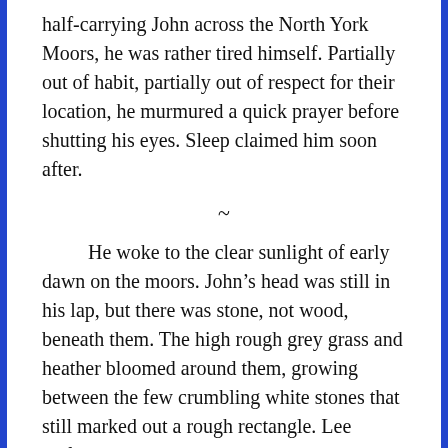half-carrying John across the North York Moors, he was rather tired himself. Partially out of habit, partially out of respect for their location, he murmured a quick prayer before shutting his eyes. Sleep claimed him soon after.
~
He woke to the clear sunlight of early dawn on the moors. John’s head was still in his lap, but there was stone, not wood, beneath them. The high rough grey grass and heather bloomed around them, growing between the few crumbling white stones that still marked out a rough rectangle. Lee shifted and coughed, taking a deep breath, and John’s eyes fluttered open above his ridiculous mustache.